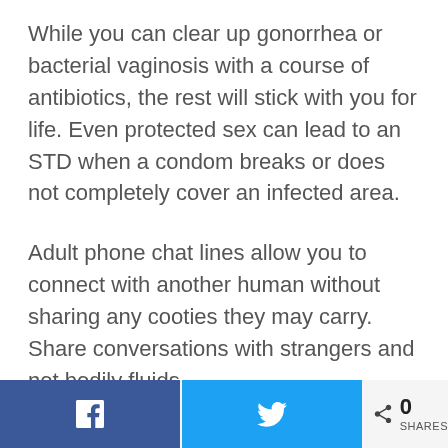While you can clear up gonorrhea or bacterial vaginosis with a course of antibiotics, the rest will stick with you for life. Even protected sex can lead to an STD when a condom breaks or does not completely cover an infected area.
Adult phone chat lines allow you to connect with another human without sharing any cooties they may carry. Share conversations with strangers and not bodily fluids.
5. Drop the Depression
Especially during this world pandemic, many people experience chronic depression. Isolation from other
f  [twitter]  < 0 SHARES